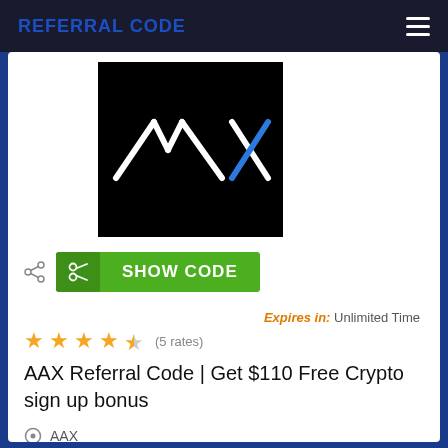REFERRAL CODE
[Figure (logo): AAX exchange logo — white stylized 'AAX' text with blue accent on black background]
✂ SHOW CODE
Expires in: Unlimited Time
★★★★½ (5 rates)
AAX Referral Code | Get $110 Free Crypto sign up bonus
⊙ AAX